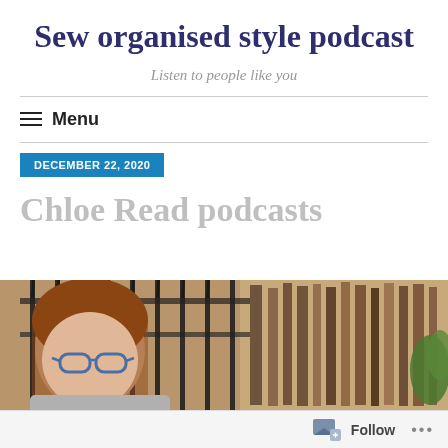Sew organised style podcast
Listen to people like you
☰ Menu
DECEMBER 22, 2020
Chloe Read podcasts
[Figure (photo): Photo of a woman with brown hair and blue glasses, standing in front of iron fence railings with books or bookshelves visible in the background]
Follow ···